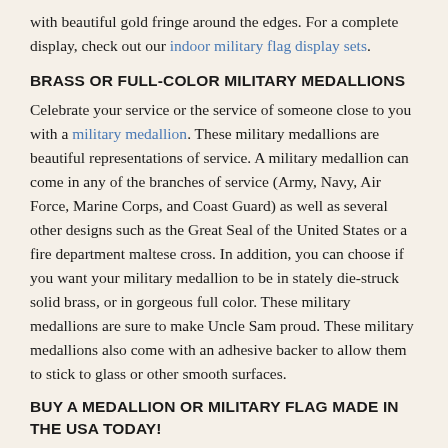with beautiful gold fringe around the edges. For a complete display, check out our indoor military flag display sets.
BRASS OR FULL-COLOR MILITARY MEDALLIONS
Celebrate your service or the service of someone close to you with a military medallion. These military medallions are beautiful representations of service. A military medallion can come in any of the branches of service (Army, Navy, Air Force, Marine Corps, and Coast Guard) as well as several other designs such as the Great Seal of the United States or a fire department maltese cross. In addition, you can choose if you want your military medallion to be in stately die-struck solid brass, or in gorgeous full color. These military medallions are sure to make Uncle Sam proud. These military medallions also come with an adhesive backer to allow them to stick to glass or other smooth surfaces.
BUY A MEDALLION OR MILITARY FLAG MADE IN THE USA TODAY!
Each military medallion and flag that we sell is made right